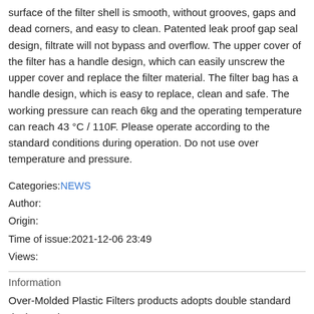surface of the filter shell is smooth, without grooves, gaps and dead corners, and easy to clean. Patented leak proof gap seal design, filtrate will not bypass and overflow. The upper cover of the filter has a handle design, which can easily unscrew the upper cover and replace the filter material. The filter bag has a handle design, which is easy to replace, clean and safe. The working pressure can reach 6kg and the operating temperature can reach 43 °C / 110F. Please operate according to the standard conditions during operation. Do not use over temperature and pressure.
Categories:NEWS
Author:
Origin:
Time of issue:2021-12-06 23:49
Views:
Information
Over-Molded Plastic Filters products adopts double standard design and adopts filter bag for filtration. The inner surface of the filter shell is smooth,